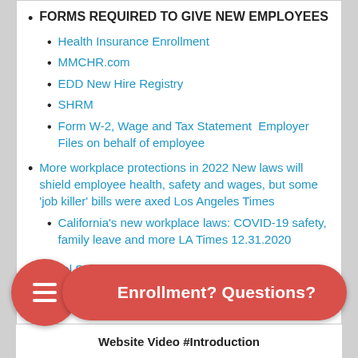FORMS REQUIRED TO GIVE NEW EMPLOYEES
Health Insurance Enrollment
MMCHR.com
EDD New Hire Registry
SHRM
Form W-2, Wage and Tax Statement  Employer Files on behalf of employee
More workplace protections in 2022 New laws will shield employee health, safety and wages, but some ‘job killer’ bills were axed Los Angeles Times
California’s new workplace laws: COVID-19 safety, family leave and more LA Times 12.31.2020
Social Security Forms
Enrollment? Questions?
Website Video #Introduction